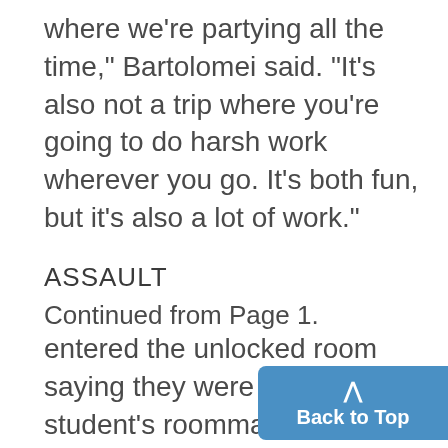where we're partying all the time," Bartolomei said. "It's also not a trip where you're going to do harsh work wherever you go. It's both fun, but it's also a lot of work."
ASSAULT
Continued from Page 1.
entered the unlocked room saying they were friends of the student's roommate. "One touched the victim on the breast before leaving with compact di[scs] belonging to a resident," DPS r[eported.] DPS was unable to locate the suspects.